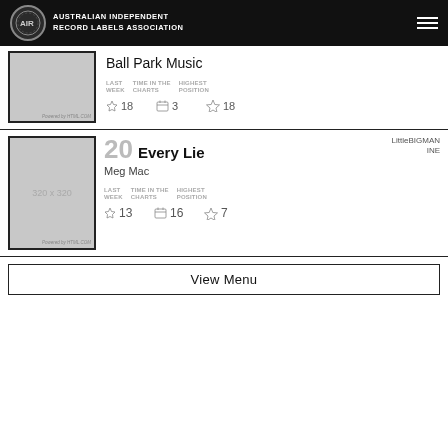Australian Independent Record Labels Association
[Figure (other): Album artwork placeholder for Ball Park Music]
Ball Park Music
| LAST WEEK | TIME IN THE CHARTS | HIGHEST POSITION |
| --- | --- | --- |
| 18 | 3 | 18 |
[Figure (other): Album artwork placeholder 320x320 for Every Lie by Meg Mac]
20 Every Lie — LittleBIGMANINE — Meg Mac
| LAST WEEK | TIME IN THE CHARTS | HIGHEST POSITION |
| --- | --- | --- |
| 13 | 16 | 7 |
View Menu